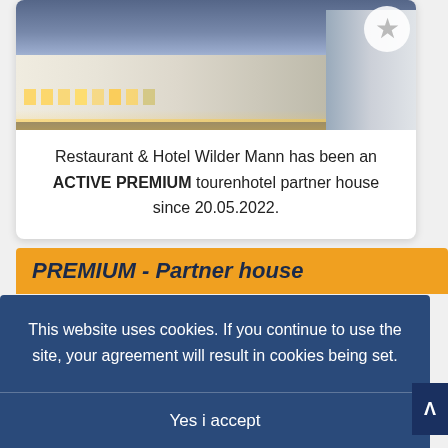[Figure (photo): Hotel exterior photo of Restaurant & Hotel Wilder Mann at night with illuminated facade]
Restaurant & Hotel Wilder Mann has been an ACTIVE PREMIUM tourenhotel partner house since 20.05.2022.
PREMIUM - Partner house
This website uses cookies. If you continue to use the site, your agreement will result in cookies being set.
Yes i accept
NEIN